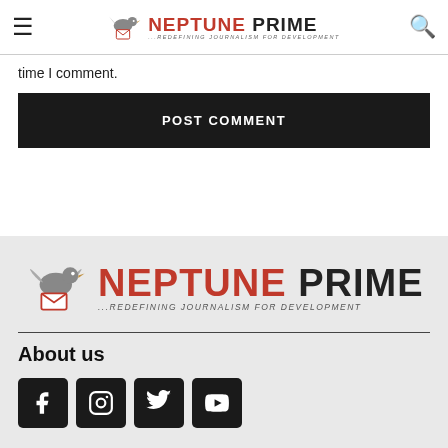Neptune Prime - Redefining Journalism for Development
time I comment.
POST COMMENT
[Figure (logo): Neptune Prime logo in footer - bird with letter, red NEPTUNE dark PRIME text, tagline ...REDEFINING JOURNALISM FOR DEVELOPMENT]
About us
[Figure (infographic): Social media icons row: Facebook, Instagram, Twitter, YouTube - black rounded square buttons]